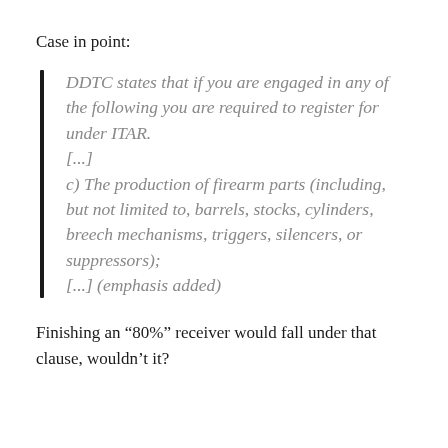Case in point:
DDTC states that if you are engaged in any of the following you are required to register for under ITAR. [...] c) The production of firearm parts (including, but not limited to, barrels, stocks, cylinders, breech mechanisms, triggers, silencers, or suppressors); [...] (emphasis added)
Finishing an ‘80%” receiver would fall under that clause, wouldn’t it?